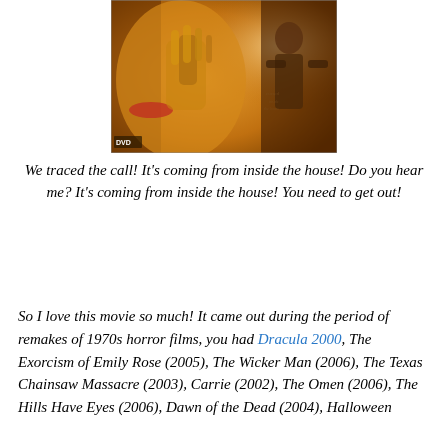[Figure (photo): DVD cover or movie poster image showing a close-up of a woman holding a phone to her face with warm golden/orange tones, and a shadowy silhouette figure in the background. DVD logo visible in lower left.]
We traced the call! It's coming from inside the house! Do you hear me? It's coming from inside the house! You need to get out!
So I love this movie so much! It came out during the period of remakes of 1970s horror films, you had Dracula 2000, The Exorcism of Emily Rose (2005), The Wicker Man (2006), The Texas Chainsaw Massacre (2003), Carrie (2002), The Omen (2006), The Hills Have Eyes (2006), Dawn of the Dead (2004), Halloween